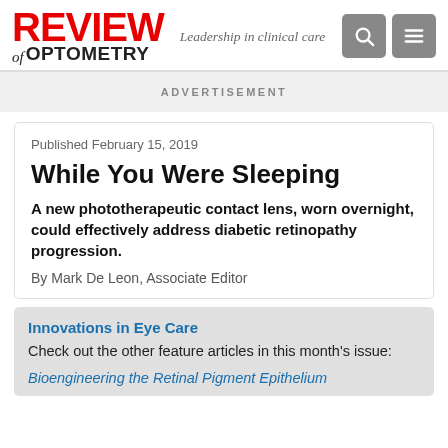REVIEW of OPTOMETRY — Leadership in clinical care
ADVERTISEMENT
Published February 15, 2019
While You Were Sleeping
A new phototherapeutic contact lens, worn overnight, could effectively address diabetic retinopathy progression.
By Mark De Leon, Associate Editor
Innovations in Eye Care
Check out the other feature articles in this month's issue:
Bioengineering the Retinal Pigment Epithelium